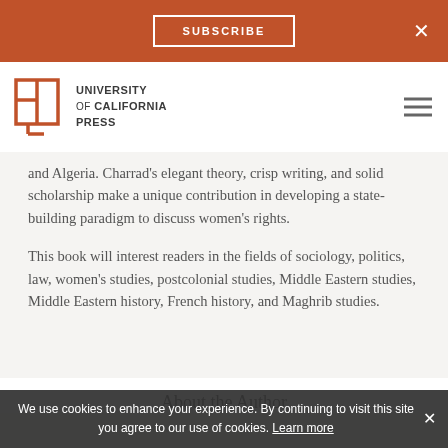SUBSCRIBE  ×
[Figure (logo): University of California Press logo with open book icon and text]
and Algeria. Charrad's elegant theory, crisp writing, and solid scholarship make a unique contribution in developing a state-building paradigm to discuss women's rights.
This book will interest readers in the fields of sociology, politics, law, women's studies, postcolonial studies, Middle Eastern studies, Middle Eastern history, French history, and Maghrib studies.
About the Author
We use cookies to enhance your experience. By continuing to visit this site you agree to our use of cookies. Learn more ×